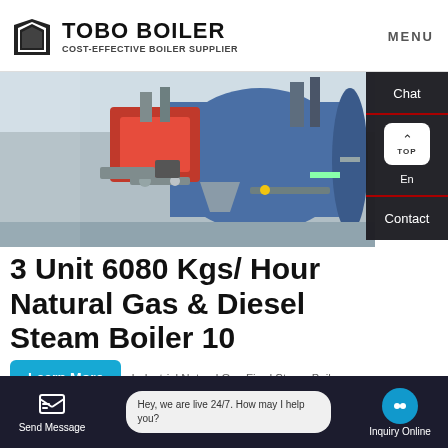TOBO BOILER COST-EFFECTIVE BOILER SUPPLIER MENU
[Figure (photo): Industrial boiler equipment with red and blue components, pipes and machinery in a factory setting]
3 Unit 6080 Kgs/ Hour Natural Gas & Diesel Steam Boiler 10
Industrial Natural Gas Fired Steam Boiler
Chat
TOP
En
Contact
[Figure (photo): Industrial boiler room with machinery, pipes, gauges and yellow scaffolding]
Send Message | Hey, we are live 24/7. How may I help you? | Inquiry Online